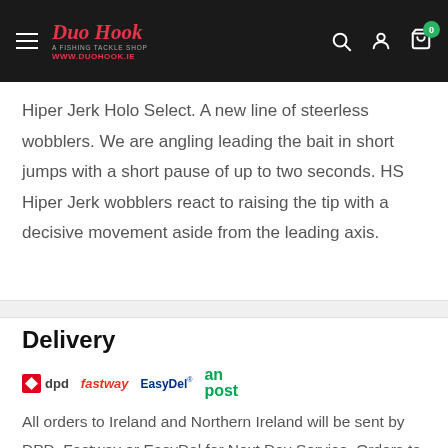Duo Hook - www.duohook.ie
Hiper Jerk Holo Select. A new line of steerless wobblers. We are angling leading the bait in short jumps with a short pause of up to two seconds. HS Hiper Jerk wobblers react to raising the tip with a decisive movement aside from the leading axis.
Delivery
[Figure (logo): Delivery courier logos: DPD, Fastway, EasyDel, An Post]
All orders to Ireland and Northern Ireland will be sent by DPD, Fastway or EasyDel for Next Day Service. Orders to Europe and United Kingdom will be sent by DPD or AnPost. Delivery takes approx 2-4